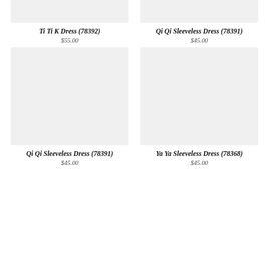[Figure (photo): Product image placeholder for Ti Ti K Dress, light grey background]
Ti Ti K Dress (78392)
$55.00
[Figure (photo): Product image placeholder for Qi Qi Sleeveless Dress, light grey background]
Qi Qi Sleeveless Dress (78391)
$45.00
[Figure (photo): Product image placeholder for Qi Qi Sleeveless Dress, light grey background]
Qi Qi Sleeveless Dress (78391)
$45.00
[Figure (photo): Product image placeholder for Ya Ya Sleeveless Dress, light grey background]
Ya Ya Sleeveless Dress (78368)
$45.00